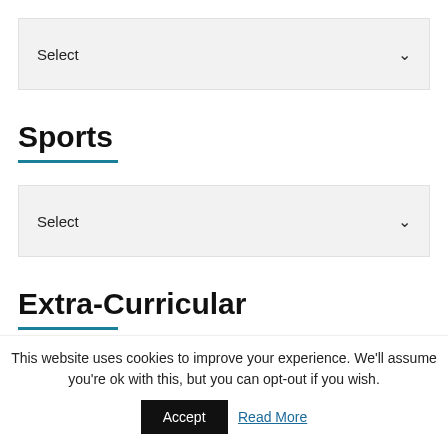[Figure (other): Select dropdown box (first)]
Sports
[Figure (other): Select dropdown box (Sports)]
Extra-Curricular
[Figure (other): Select dropdown box (Extra-Curricular)]
This website uses cookies to improve your experience. We'll assume you're ok with this, but you can opt-out if you wish.
Accept
Read More